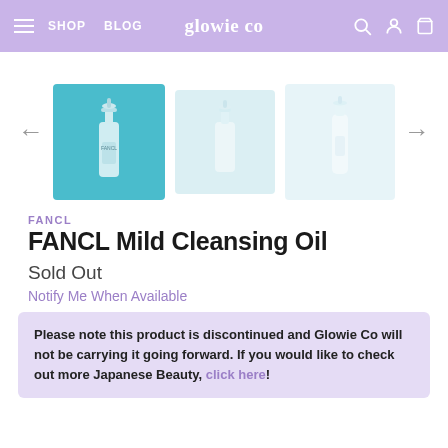glowie co — SHOP | BLOG
[Figure (photo): Three product image thumbnails of FANCL Mild Cleansing Oil bottles on teal/light blue backgrounds, with left and right navigation arrows]
FANCL
FANCL Mild Cleansing Oil
Sold Out
Notify Me When Available
Please note this product is discontinued and Glowie Co will not be carrying it going forward. If you would like to check out more Japanese Beauty, click here!